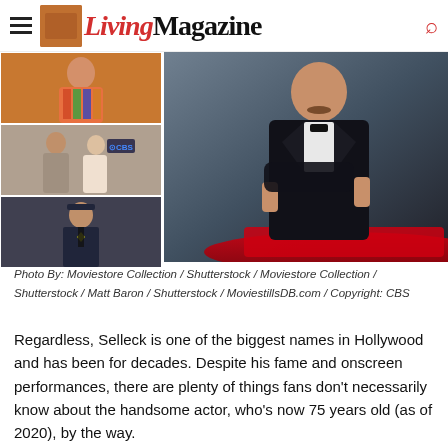Living Magazine
[Figure (photo): Collage of four photos: top-left shows a man in colorful shirt, middle-left shows two people at a CBS event, bottom-left shows a man in police uniform, and the large right image shows a man in a tuxedo leaning against a red car.]
Photo By: Moviestore Collection / Shutterstock / Moviestore Collection / Shutterstock / Matt Baron / Shutterstock / MoviestillsDB.com / Copyright: CBS
Regardless, Selleck is one of the biggest names in Hollywood and has been for decades. Despite his fame and onscreen performances, there are plenty of things fans don’t necessarily know about the handsome actor, who’s now 75 years old (as of 2020), by the way.